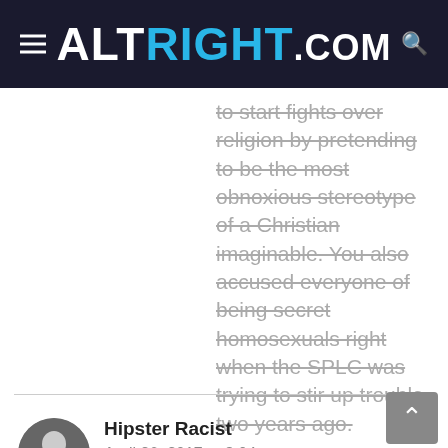ALTRIGHT.COM
to start fights over religion by pretending to be the most obnoxious stereotype of a Christian imaginable. You also accused everyone of being secret homosexuals right when the SPLC was trying to stir up trouble two years ago.

I remember you now, (((White Boner))).
Hipster Racist
April 26, 2017 at 8:04 pm
Also, the “vaccine free” thing is another dead giveaway